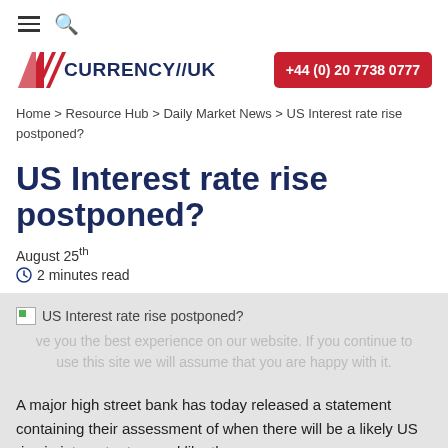≡ 🔍
[Figure (logo): Currency//UK logo with red diagonal stripes icon and dark blue text, with red phone button +44 (0) 20 7738 0777]
Home > Resource Hub > Daily Market News > US Interest rate rise postponed?
US Interest rate rise postponed?
August 25th
🕐 2 minutes read
[Figure (photo): Broken image placeholder labeled 'US Interest rate rise postponed?' with cookie consent overlay text]
A major high street bank has today released a statement containing their assessment of when there will be a likely US rise in interest rates, and like many the...